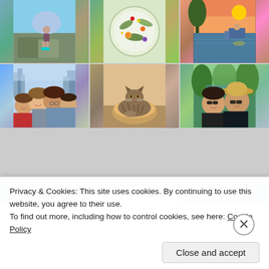[Figure (photo): A 3x2 grid of photos: (1) woman sitting on rocks outdoors with teal shoes and mountains in background, (2) overhead view of a decorative plate with flowers and food, (3) woman sitting in chair by a lake at sunset, (4) group selfie of four women smiling with city skyline behind, (5) tabby cat lying in a round pet bed looking at camera, (6) two women smiling outdoors in sunglasses near water with trees]
Privacy & Cookies: This site uses cookies. By continuing to use this website, you agree to their use.
To find out more, including how to control cookies, see here: Cookie Policy